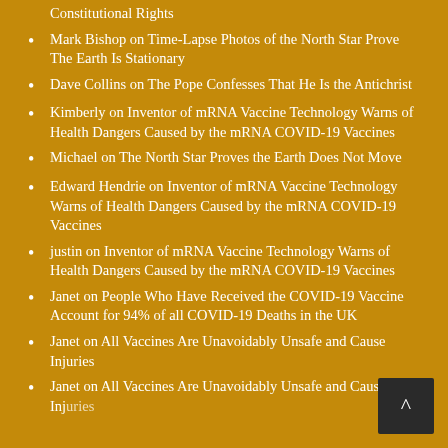Constitutional Rights
Mark Bishop on Time-Lapse Photos of the North Star Prove The Earth Is Stationary
Dave Collins on The Pope Confesses That He Is the Antichrist
Kimberly on Inventor of mRNA Vaccine Technology Warns of Health Dangers Caused by the mRNA COVID-19 Vaccines
Michael on The North Star Proves the Earth Does Not Move
Edward Hendrie on Inventor of mRNA Vaccine Technology Warns of Health Dangers Caused by the mRNA COVID-19 Vaccines
justin on Inventor of mRNA Vaccine Technology Warns of Health Dangers Caused by the mRNA COVID-19 Vaccines
Janet on People Who Have Received the COVID-19 Vaccine Account for 94% of all COVID-19 Deaths in the UK
Janet on All Vaccines Are Unavoidably Unsafe and Cause Injuries
Janet on All Vaccines Are Unavoidably Unsafe and Cause Injuries